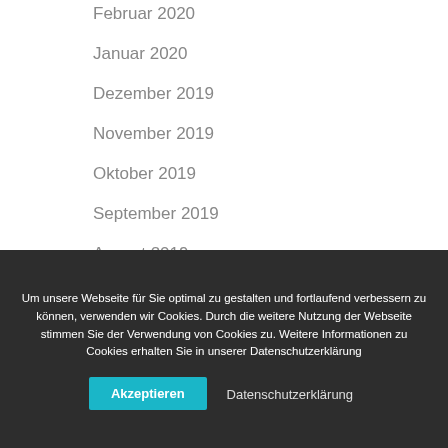Februar 2020
Januar 2020
Dezember 2019
November 2019
Oktober 2019
September 2019
August 2019
Juli 2019
Um unsere Webseite für Sie optimal zu gestalten und fortlaufend verbessern zu können, verwenden wir Cookies. Durch die weitere Nutzung der Webseite stimmen Sie der Verwendung von Cookies zu. Weitere Informationen zu Cookies erhalten Sie in unserer Datenschutzerklärung
Akzeptieren
Datenschutzerklärung